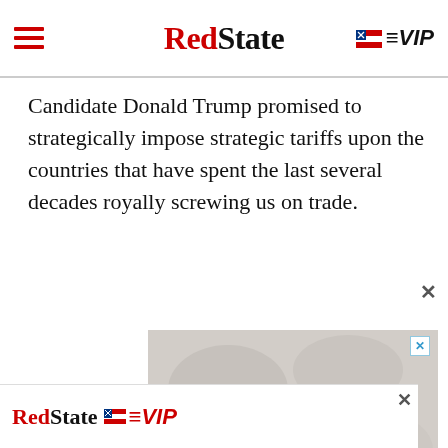RedState | VIP
Candidate Donald Trump promised to strategically impose strategic tariffs upon the countries that have spent the last several decades royally screwing us on trade.
[Figure (infographic): Advertisement banner: 'HELP PROTECT US AGAINST BIG TECH CENSORSHIP' on stone/concrete texture background, with RedState VIP branding]
[Figure (infographic): RedState VIP bottom banner advertisement]